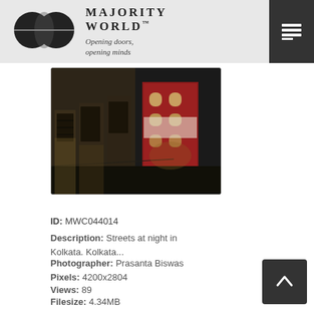MAJORITY WORLD™ — Opening doors, opening minds
[Figure (photo): Dark nighttime street scene in Kolkata showing old weathered buildings with shuttered doors and a multi-story red and white building at the end of a narrow alley]
ID: MWC044014
Description: Streets at night in Kolkata. Kolkata...
Photographer: Prasanta Biswas
Pixels: 4200x2804
Views: 89
Filesize: 4.34MB
Filename: MWC044014.jpg
Owner: Prasanta Biswas
Added: Nov 30, 2021